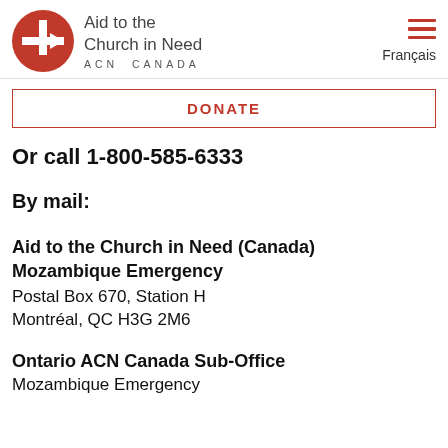[Figure (logo): Aid to the Church in Need Canada logo — red circle with white cross and arrow, text 'Aid to the Church in Need' and 'ACN CANADA']
Français
DONATE
Or call 1-800-585-6333
By mail:
Aid to the Church in Need (Canada)
Mozambique Emergency
Postal Box 670, Station H
Montréal, QC H3G 2M6
Ontario ACN Canada Sub-Office
Mozambique Emergency